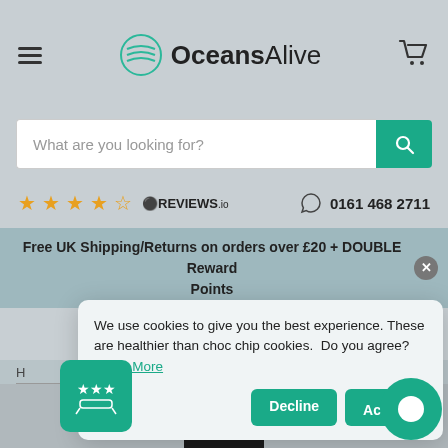OceansAlive
What are you looking for?
★★★★☆ OREVIEWS.io  0161 468 2711
Free UK Shipping/Returns on orders over £20 + DOUBLE Reward Points
FREE UK delivery & returns
On all online orders over £20
H
We use cookies to give you the best experience. These are healthier than choc chip cookies.  Do you agree? Learn More
Decline
Accept
[Figure (other): Review badge icon with stars]
[Figure (other): Chat bubble icon]
[Figure (other): Product bottle image at bottom]